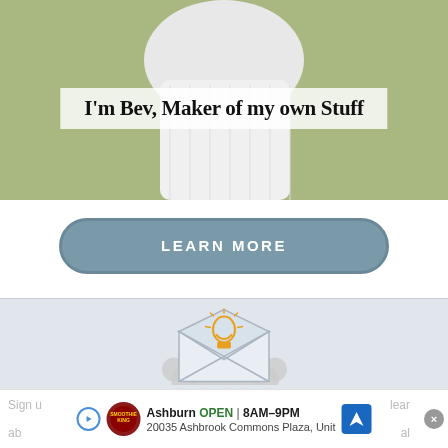[Figure (photo): Partial photo of a person in a white cardigan against a green/outdoor background, with a semi-transparent white text overlay reading 'I'm Bev, Maker of my own Stuff']
I'm Bev, Maker of my own Stuff
LEARN MORE
[Figure (illustration): Illustration of an open envelope with a glowing orange lightbulb inside, surrounded by a decorative cloud/scalloped border]
Need a few more bright ideas?
Sign t... lear...
ab... al...
Ashburn OPEN 8AM-9PM 20035 Ashbrook Commons Plaza, Unit